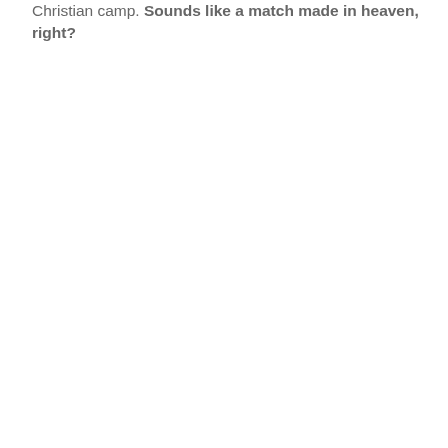Christian camp. Sounds like a match made in heaven, right?